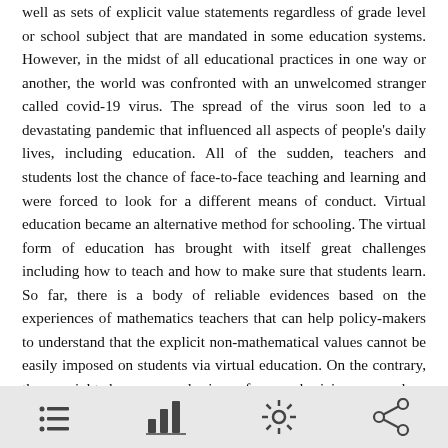well as sets of explicit value statements regardless of grade level or school subject that are mandated in some education systems. However, in the midst of all educational practices in one way or another, the world was confronted with an unwelcomed stranger called covid-19 virus. The spread of the virus soon led to a devastating pandemic that influenced all aspects of people's daily lives, including education. All of the sudden, teachers and students lost the chance of face-to-face teaching and learning and were forced to look for a different means of conduct. Virtual education became an alternative method for schooling. The virtual form of education has brought with itself great challenges including how to teach and how to make sure that students learn. So far, there is a body of reliable evidences based on the experiences of mathematics teachers that can help policy-makers to understand that the explicit non-mathematical values cannot be easily imposed on students via virtual education. On the contrary, there might be a new horizon for emphasizing on values embedded in mathematics such as rigor, precision, logical thinking, problem posing, problem solving, computational literacy, algorithmic thinking, etc.
[menu icon] [chart icon] [settings icon] [share icon]